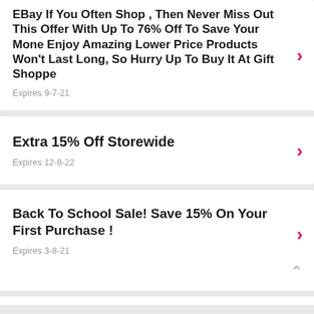EBay If You Often Shop , Then Never Miss Out This Offer With Up To 76% Off To Save Your Mone Enjoy Amazing Lower Price Products Won't Last Long, So Hurry Up To Buy It At Gift Shoppe
Expires 9-7-21
Extra 15% Off Storewide
Expires 12-8-22
Back To School Sale! Save 15% On Your First Purchase !
Expires 3-8-21